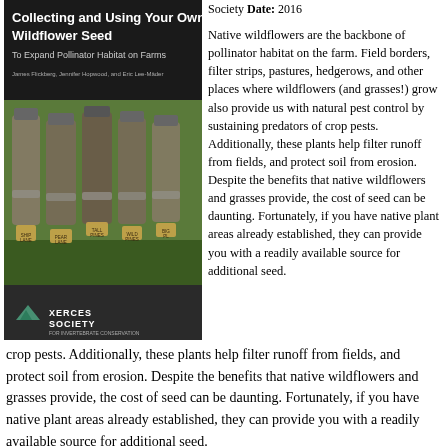[Figure (photo): Book cover for 'Collecting and Using Your Own Wildflower Seed To Expand Pollinator Habitat on Farms' by James Flickberg, Jennifer Hopwood, and Eric Lee-Mäder, published by Xerces Society, 2016. Shows mason jars filled with wildflower seeds, with a dark banner and Xerces Society logo at the bottom.]
Society Date: 2016
Native wildflowers are the backbone of pollinator habitat on the farm. Field borders, filter strips, pastures, hedgerows, and other places where wildflowers (and grasses!) grow also provide us with natural pest control by sustaining predators of crop pests. Additionally, these plants help filter runoff from fields, and protect soil from erosion. Despite the benefits that native wildflowers and grasses provide, the cost of seed can be daunting. Fortunately, if you have native plant areas already established, they can provide you with a readily available source for additional seed.
While harvesting seed from existing wildflowers around the farm